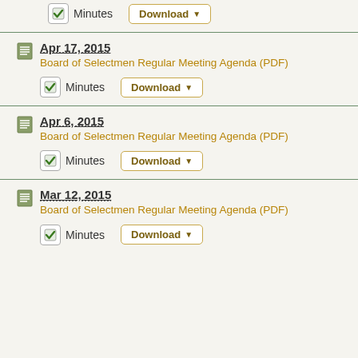Minutes  Download
Apr 17, 2015 Board of Selectmen Regular Meeting Agenda (PDF) | Minutes  Download
Apr 6, 2015 Board of Selectmen Regular Meeting Agenda (PDF) | Minutes  Download
Mar 12, 2015 Board of Selectmen Regular Meeting Agenda (PDF) | Minutes  Download